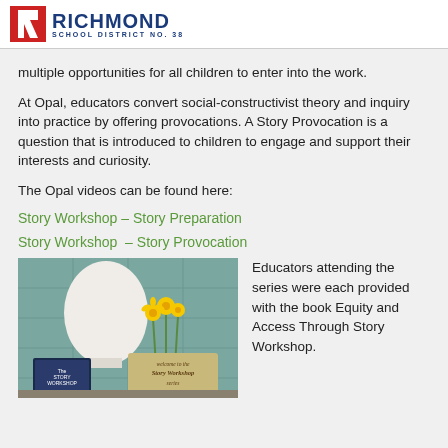RICHMOND SCHOOL DISTRICT NO. 38
multiple opportunities for all children to enter into the work.
At Opal, educators convert social-constructivist theory and inquiry into practice by offering provocations. A Story Provocation is a question that is introduced to children to engage and support their interests and curiosity.
The Opal videos can be found here:
Story Workshop – Story Preparation
Story Workshop  – Story Provocation
[Figure (photo): Photo of a book titled 'The Story Workshop', yellow daffodils in a vase, a white lamp or sculpture, and a welcome sign reading 'welcome to the Story Workshop series' on a table.]
Educators attending the series were each provided with the book Equity and Access Through Story Workshop.